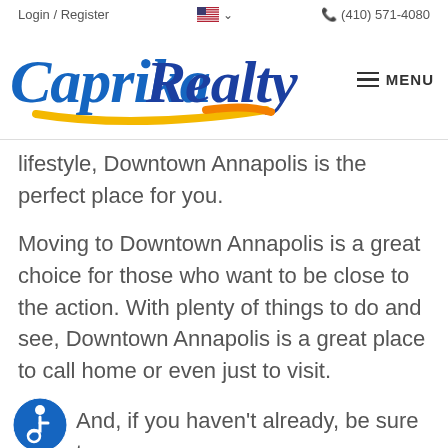Login / Register   (410) 571-4080
[Figure (logo): Caprika Realty logo with blue script text and yellow swoosh underline]
lifestyle, Downtown Annapolis is the perfect place for you.
Moving to Downtown Annapolis is a great choice for those who want to be close to the action. With plenty of things to do and see, Downtown Annapolis is a great place to call home or even just to visit.
And, if you haven't already, be sure to